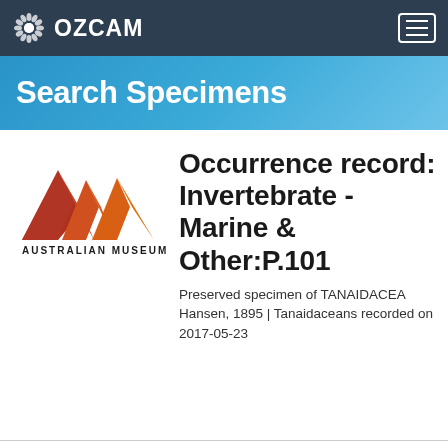OZCAM
Search Specimens
[Figure (logo): Australian Museum logo — three zigzag mountain peaks in red-to-orange gradient above the text AUSTRALIAN MUSEUM]
Occurrence record: Invertebrate - Marine & Other:P.101
Preserved specimen of TANAIDACEA Hansen, 1895 | Tanaidaceans recorded on 2017-05-23